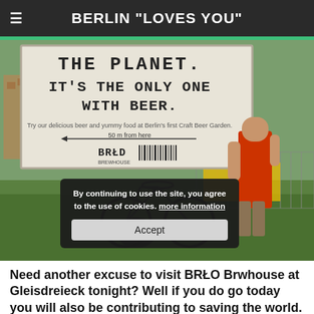BERLIN "LOVES YOU"
[Figure (photo): Outdoor photo of a man in a red tank top standing next to a bicycle in front of a large BRLO Brewhouse billboard that reads: 'THE PLANET: IT'S THE ONLY ONE WITH BEER. Try our delicious beer and yummy food at Berlin's first Craft Beer Garden. 50m from here'. Urban Berlin setting with chain-link fence and vegetation.]
By continuing to use the site, you agree to the use of cookies. more information
Accept
Need another excuse to visit BRLO Brwhouse at Gleisdreieck tonight? Well if you do go today you will also be contributing to saving the world. Why?